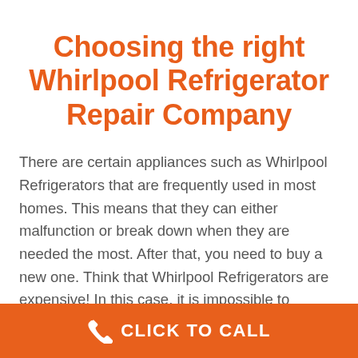Choosing the right Whirlpool Refrigerator Repair Company
There are certain appliances such as Whirlpool Refrigerators that are frequently used in most homes. This means that they can either malfunction or break down when they are needed the most. After that, you need to buy a new one. Think that Whirlpool Refrigerators are expensive! In this case, it is impossible to replace them. It doesn't matter how careful you are, therefore at some point your
CLICK TO CALL